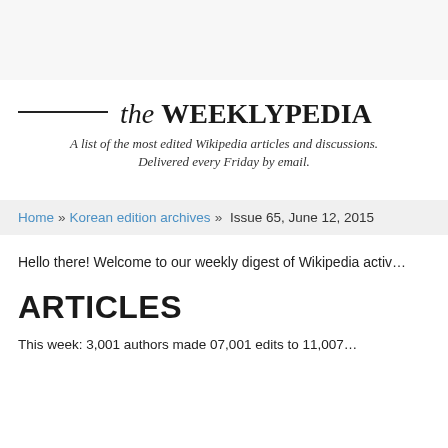the WEEKLYPEDIA
A list of the most edited Wikipedia articles and discussions. Delivered every Friday by email.
Home » Korean edition archives » Issue 65, June 12, 2015
Hello there! Welcome to our weekly digest of Wikipedia activ…
ARTICLES
This week: 3,001 authors made 07,001 edits to 11,007…